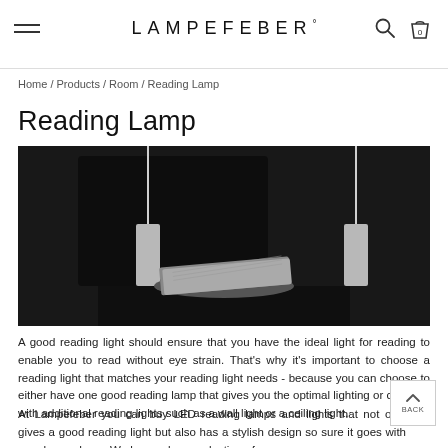LAMPEFEBER°
Home / Products / Room / Reading Lamp
Reading Lamp
[Figure (photo): Two wall-mounted reading lamps with flexible grey arms hanging over a bedside table with an open book on a dark background.]
A good reading light should ensure that you have the ideal light for reading to enable you to read without eye strain. That's why it's important to choose a reading light that matches your reading light needs - because you can choose to either have one good reading lamp that gives you the optimal lighting or combine with additional reading lights such as a wall light or a ceiling light.
At Lampefeber you can buy LED reading lamps and lights that not only gives a good reading light but also has a stylish design so sure it goes with your home decor. We have a large selection of